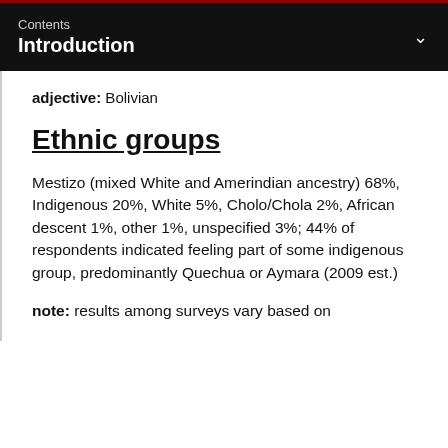Contents
Introduction
adjective: Bolivian
Ethnic groups
Mestizo (mixed White and Amerindian ancestry) 68%, Indigenous 20%, White 5%, Cholo/Chola 2%, African descent 1%, other 1%, unspecified 3%; 44% of respondents indicated feeling part of some indigenous group, predominantly Quechua or Aymara (2009 est.)
note: results among surveys vary based on